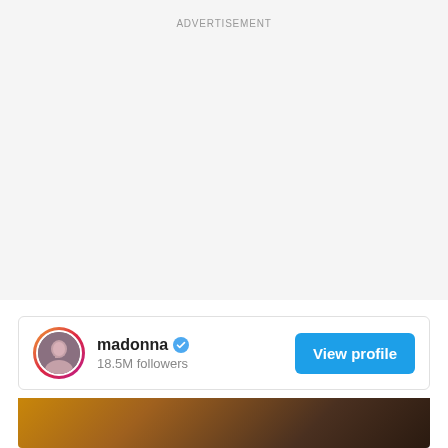ADVERTISEMENT
[Figure (screenshot): Instagram profile widget for Madonna showing avatar with pink gradient ring border, verified blue checkmark, 18.5M followers, and a 'View profile' blue button]
[Figure (photo): Partial photo strip showing warm amber and dark brown tones, appears to be an interior room scene]